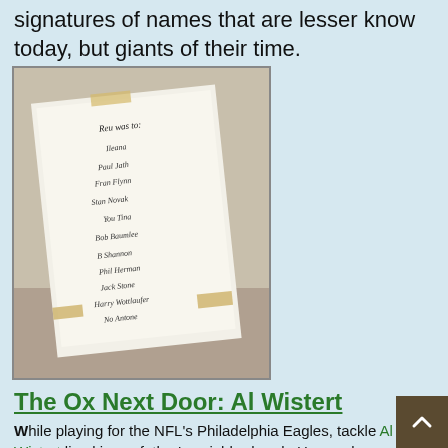signatures of names that are lesser know today, but giants of their time.
[Figure (photo): A photograph of a piece of paper or notebook with multiple handwritten signatures, taped down at corners, displayed on a surface.]
The Ox Next Door: Al Wistert
While playing for the NFL's Philadelphia Eagles, tackle Al "Ox" Wistert lived in my father's neighborhood. He was known and loved not just for his feats on the football fie but for his generous Halloween hijinks. My father